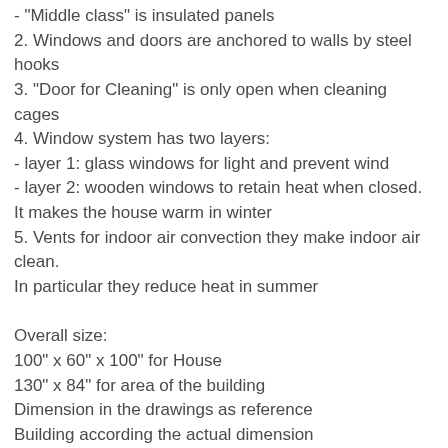- "Middle class" is insulated panels
2. Windows and doors are anchored to walls by steel hooks
3. "Door for Cleaning" is only open when cleaning cages
4. Window system has two layers:
- layer 1: glass windows for light and prevent wind
- layer 2: wooden windows to retain heat when closed. It makes the house warm in winter
5. Vents for indoor air convection they make indoor air clean. In particular they reduce heat in summer
Overall size:
100" x 60" x 100" for House
130" x 84" for area of the building
Dimension in the drawings as reference
Building according the actual dimension
Size of timber (section): a: 4"x4"; b: 2"x4"; c: 2"x2"; f: 1"x2"; g: 1"x1"; h: 1"x4"; k: 1"x6"; Units: Inches
Order of the drawings in this profile are not the steps to build correctly. It is suggested. You should base on the description as follow